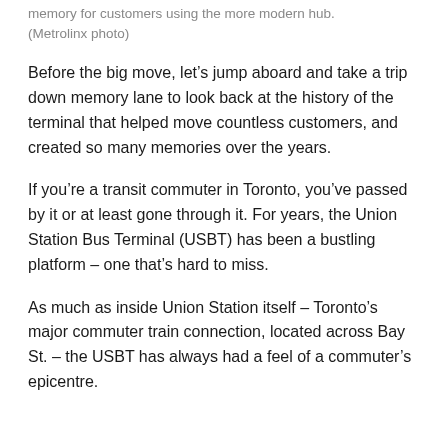The old Union Station Bus Terminal will soon be only a memory for customers using the more modern hub. (Metrolinx photo)
Before the big move, let's jump aboard and take a trip down memory lane to look back at the history of the terminal that helped move countless customers, and created so many memories over the years.
If you're a transit commuter in Toronto, you've passed by it or at least gone through it. For years, the Union Station Bus Terminal (USBT) has been a bustling platform – one that's hard to miss.
As much as inside Union Station itself – Toronto's major commuter train connection, located across Bay St. – the USBT has always had a feel of a commuter's epicentre.